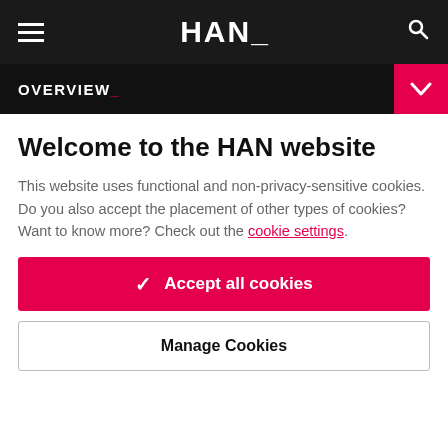HAN_
OVERVIEW_
Welcome to the HAN website
This website uses functional and non-privacy-sensitive cookies. Do you also accept the placement of other types of cookies? Want to know more? Check out the cookie settings.
✓ Accept all cookies
Manage Cookies